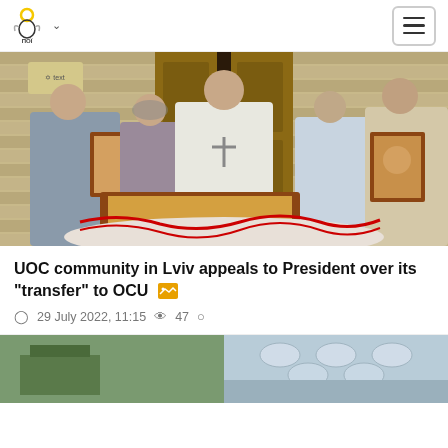UOC website navigation header with logo and hamburger menu
[Figure (photo): Orthodox Christian ceremony outside a wooden church. A priest in white vestments stands in the doorway. Several people hold religious icons. A decorated icon is displayed on a table covered with an embroidered cloth.]
UOC community in Lviv appeals to President over its "transfer" to OCU
29 July 2022, 11:15  47
[Figure (photo): Partial preview of another article image showing interior of a building.]